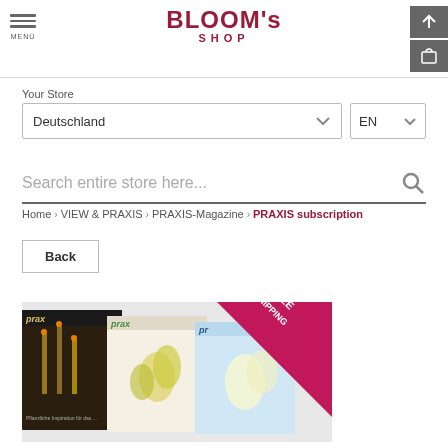[Figure (logo): Bloom's Shop logo with hamburger menu icon and header icons]
Your Store
Deutschland
EN
Search entire store here...
Home › VIEW & PRAXIS › PRAXIS-Magazine › PRAXIS subscription
Back
[Figure (photo): Three Praxis magazine covers with a pink 'FREE SHIPPING' diagonal banner]